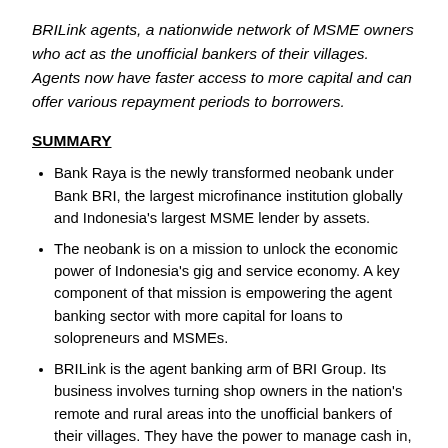BRILink agents, a nationwide network of MSME owners who act as the unofficial bankers of their villages. Agents now have faster access to more capital and can offer various repayment periods to borrowers.
SUMMARY
Bank Raya is the newly transformed neobank under Bank BRI, the largest microfinance institution globally and Indonesia's largest MSME lender by assets.
The neobank is on a mission to unlock the economic power of Indonesia's gig and service economy. A key component of that mission is empowering the agent banking sector with more capital for loans to solopreneurs and MSMEs.
BRILink is the agent banking arm of BRI Group. Its business involves turning shop owners in the nation's remote and rural areas into the unofficial bankers of their villages. They have the power to manage cash in,